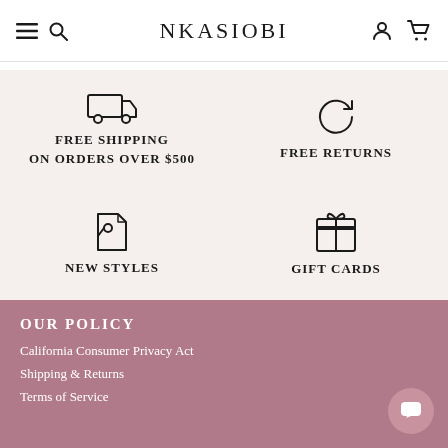NKASIOBI
FREE SHIPPING ON ORDERS OVER $500
FREE RETURNS
NEW STYLES
GIFT CARDS
OUR POLICY
California Consumer Privacy Act
Shipping & Returns
Terms of Service